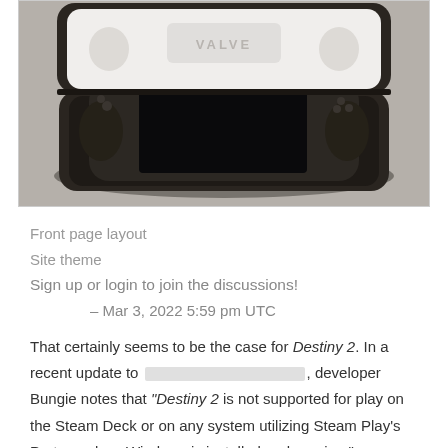[Figure (photo): A Valve Steam Deck handheld gaming device inside an open black carrying case, placed on a gray surface. The lid of the case shows a white molded interior with the VALVE logo embossed.]
Front page layout
Site theme
Sign up or login to join the discussions!
– Mar 3, 2022 5:59 pm UTC
That certainly seems to be the case for Destiny 2. In a recent update to [redacted], developer Bungie notes that "Destiny 2 is not supported for play on the Steam Deck or on any system utilizing Steam Play's Proton unless Windows is installed and running."